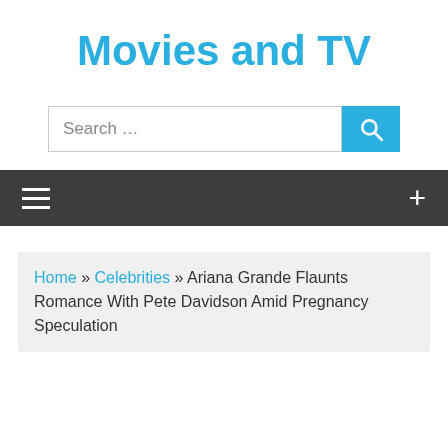Movies and TV
[Figure (screenshot): Search bar with blue search button containing magnifying glass icon]
[Figure (screenshot): Dark navigation bar with hamburger menu icon on left and plus icon on right]
Home » Celebrities » Ariana Grande Flaunts Romance With Pete Davidson Amid Pregnancy Speculation